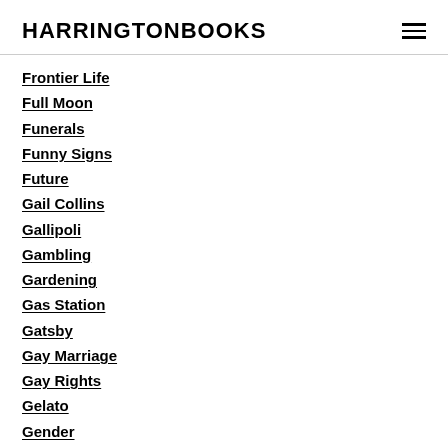HARRINGTONBOOKS
Frontier Life
Full Moon
Funerals
Funny Signs
Future
Gail Collins
Gallipoli
Gambling
Gardening
Gas Station
Gatsby
Gay Marriage
Gay Rights
Gelato
Gender
General Electric